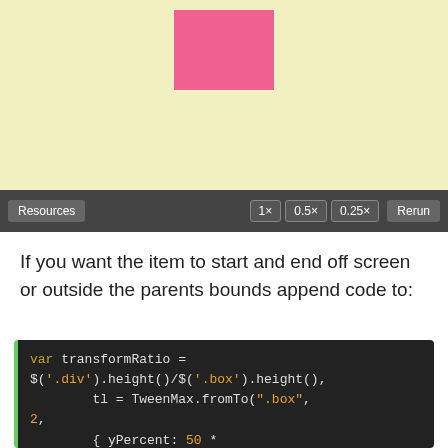[Figure (screenshot): Animation preview showing a yellow background with a pink rectangle near the top center]
[Figure (screenshot): Toolbar with buttons: Resources, 1x, 0.5x, 0.25x speed selectors, and Rerun button on dark background]
If you want the item to start and end off screen or outside the parents bounds append code to:
[Figure (screenshot): Code block showing JavaScript: var transformRatio = $('.div').height()/$('.box').height(), tl = TweenMax.fromTo(".box", 2, { yPercent: 50 * transformRatio + 50}, { yPercent: -50 * transformRatio - 50} ); $('button').on('click', function() {]